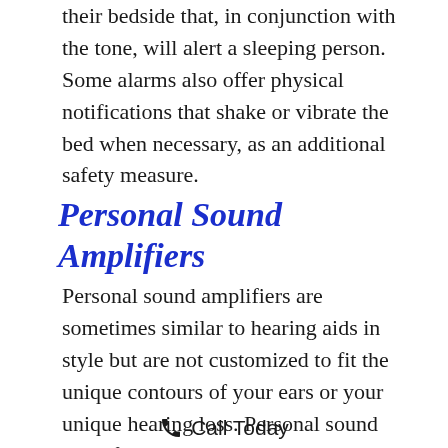their bedside that, in conjunction with the tone, will alert a sleeping person. Some alarms also offer physical notifications that shake or vibrate the bed when necessary, as an additional safety measure.
Personal Sound Amplifiers
Personal sound amplifiers are sometimes similar to hearing aids in style but are not customized to fit the unique contours of your ears or your unique hearing loss. Personal sound amplifiers also sometimes look like older pocket tape players that
✆ Call Today